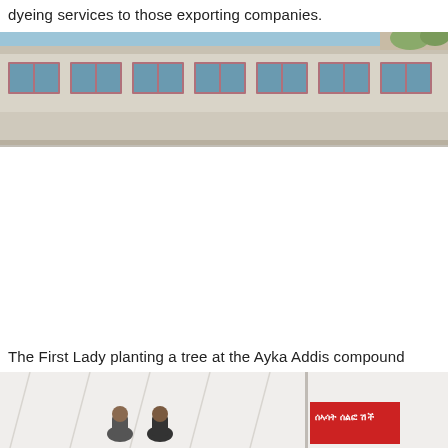dyeing services to those exporting companies.
[Figure (photo): Exterior of a building with pink-framed windows and a blue sky, partially cropped at top of page]
The First Lady planting a tree at the Ayka Addis compound
[Figure (photo): People standing under a white tent canopy, with a red sign visible showing Amharic text, bottom of page]